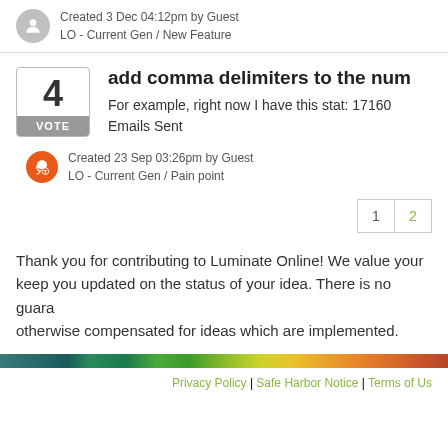Created 3 Dec 04:12pm by Guest
LO - Current Gen / New Feature
add comma delimiters to the num
For example, right now I have this stat: 17160
Emails Sent
Created 23 Sep 03:26pm by Guest
LO - Current Gen / Pain point
1  2
Thank you for contributing to Luminate Online! We value your keep you updated on the status of your idea. There is no guara otherwise compensated for ideas which are implemented.
Privacy Policy | Safe Harbor Notice | Terms of Us